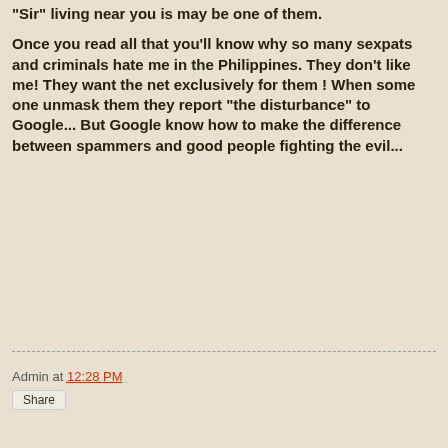"Sir" living near you is may be one of them.
Once you read all that you'll know why so many sexpats and criminals hate me in the Philippines. They don't like me! They want the net exclusively for them ! When some one unmask them they report "the disturbance" to Google... But Google know how to make the difference between spammers and good people fighting the evil...
Admin at 12:28 PM
Share